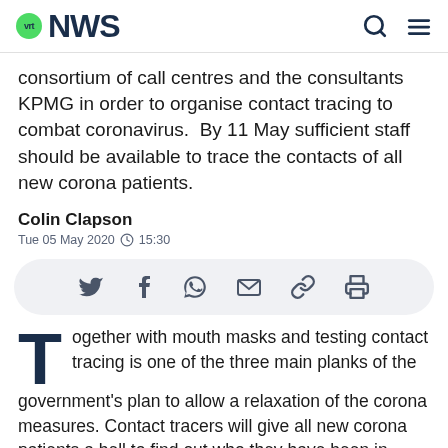vrt NWS
consortium of call centres and the consultants KPMG in order to organise contact tracing to combat coronavirus.  By 11 May sufficient staff should be available to trace the contacts of all new corona patients.
Colin Clapson
Tue 05 May 2020  15:30
[Figure (infographic): Social share bar with icons for Twitter, Facebook, WhatsApp, email, link, and print]
Together with mouth masks and testing contact tracing is one of the three main planks of the government's plan to allow a relaxation of the corona measures. Contact tracers will give all new corona patients a bell to find out who they have been in contact with.